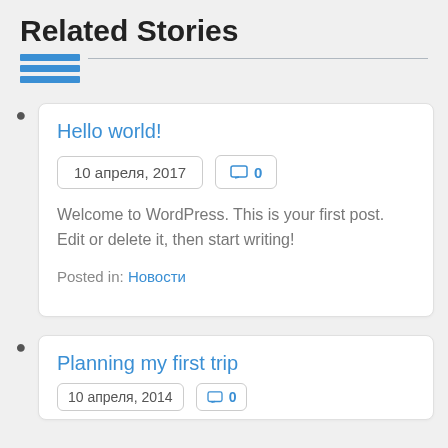Related Stories
[Figure (other): Blue horizontal bar decoration with three stacked blue bars and a thin grey horizontal line extending to the right]
Hello world!
10 апреля, 2017   [comment icon] 0
Welcome to WordPress. This is your first post. Edit or delete it, then start writing!
Posted in: Новости
Planning my first trip